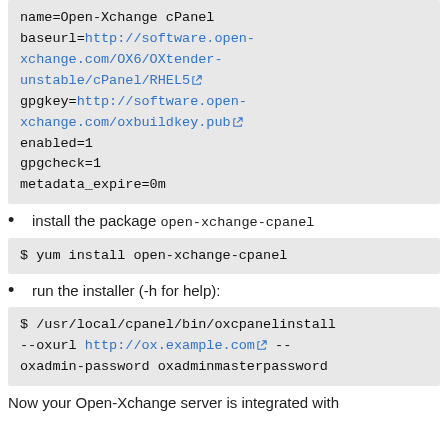name=Open-Xchange cPanel
baseurl=http://software.open-xchange.com/OX6/OXtender-unstable/cPanel/RHEL5
gpgkey=http://software.open-xchange.com/oxbuildkey.pub
enabled=1
gpgcheck=1
metadata_expire=0m
install the package open-xchange-cpanel
$ yum install open-xchange-cpanel
run the installer (-h for help):
$ /usr/local/cpanel/bin/oxcpanelinstall --oxurl http://ox.example.com -- oxadmin-password oxadminmasterpassword
Now your Open-Xchange server is integrated with